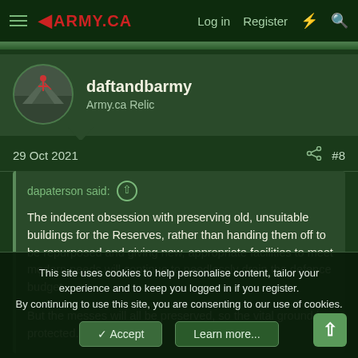ARMY.CA — Log in | Register
daftandbarmy
Army.ca Relic
29 Oct 2021  #8
dapaterson said: ↑

The indecent obsession with preserving old, unsuitable buildings for the Reserves, rather than handing them off to be repurposed and giving new, appropriate facilities to meet modern needs will continue to needlessly drain the defence budget.

But the messes will all be preserved, so the vital ground is protected.
This site uses cookies to help personalise content, tailor your experience and to keep you logged in if you register.
By continuing to use this site, you are consenting to our use of cookies.